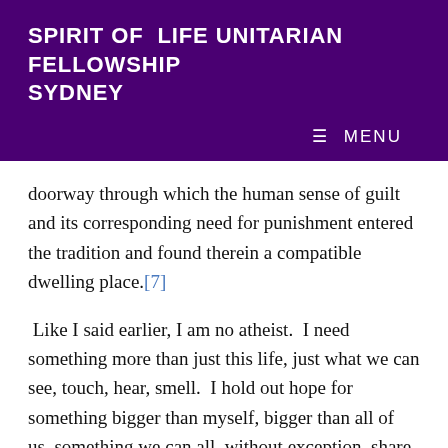SPIRIT OF LIFE UNITARIAN FELLOWSHIP SYDNEY
doorway through which the human sense of guilt and its corresponding need for punishment entered the tradition and found therein a compatible dwelling place.[7]
Like I said earlier, I am no atheist.  I need something more than just this life, just what we can see, touch, hear, smell.  I hold out hope for something bigger than myself, bigger than all of us, something we can all, without exception, share in.  Call it spirituality, call it God, call it a song if you want – that's how I prefer to think of